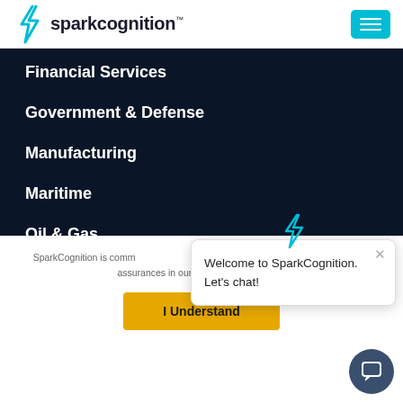[Figure (logo): SparkCognition logo with teal lightning bolt icon and company name]
Financial Services
Government & Defense
Manufacturing
Maritime
Oil & Gas
SparkCognition is comm privacy laws, includin assurances in our contr review our C
Welcome to SparkCognition. Let's chat!
I Understand